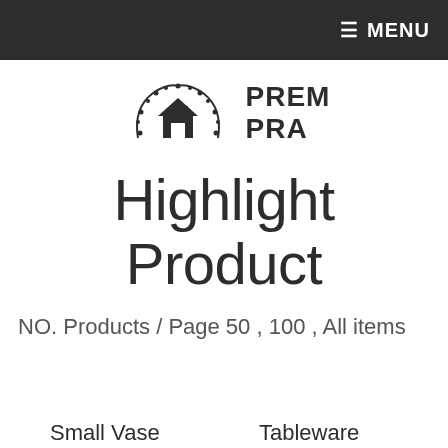≡ MENU
[Figure (logo): PREM PRA logo with house and floral arch illustration]
Highlight Product
NO. Products / Page 50 , 100 , All items
Small Vase
Tableware